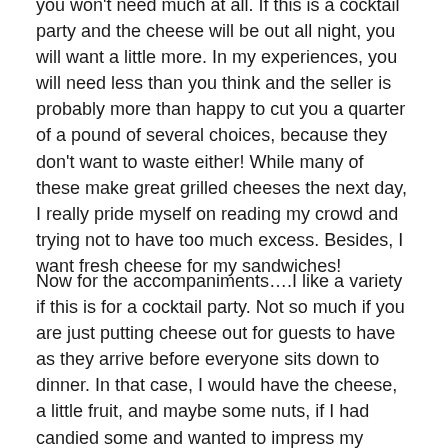you won't need much at all. If this is a cocktail party and the cheese will be out all night, you will want a little more. In my experiences, you will need less than you think and the seller is probably more than happy to cut you a quarter of a pound of several choices, because they don't want to waste either! While many of these make great grilled cheeses the next day, I really pride myself on reading my crowd and trying not to have too much excess. Besides, I want fresh cheese for my sandwiches!
Now for the accompaniments….I like a variety if this is for a cocktail party. Not so much if you are just putting cheese out for guests to have as they arrive before everyone sits down to dinner. In that case, I would have the cheese, a little fruit, and maybe some nuts, if I had candied some and wanted to impress my guests! For a cocktail party, I go all out. I like candied nuts, jams, honey, dried fruit, as